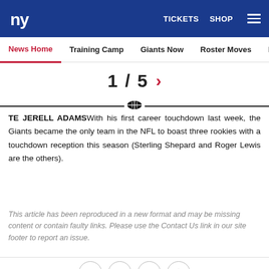NY Giants — TICKETS  SHOP  ☰
News Home  Training Camp  Giants Now  Roster Moves  Fact o
1 / 5 >
TE JERELL ADAMSWith his first career touchdown last week, the Giants became the only team in the NFL to boast three rookies with a touchdown reception this season (Sterling Shepard and Roger Lewis are the others).
This article has been reproduced in a new format and may be missing content or contain faulty links. Please use the Contact Us link in our site footer to report an issue.